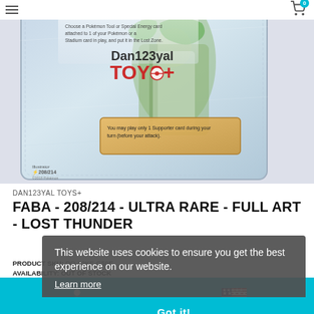[Figure (screenshot): Screenshot of Dan123yal Toys+ e-commerce website header with hamburger menu and cart icon showing 0 items]
[Figure (photo): Pokémon TCG card - Faba 208/214 Ultra Rare Full Art from Lost Thunder set, showing card back with holographic design and card text about Supporter rules]
DAN123YAL TOYS+
FABA - 208/214 - ULTRA RARE - FULL ART - LOST THUNDER
PRODUCT SKU:  DO-02KE-G59E
AVAILABILITY:  OUT OF STOCK
$4.58
This website uses cookies to ensure you get the best experience on our website.
Learn more
Got it!